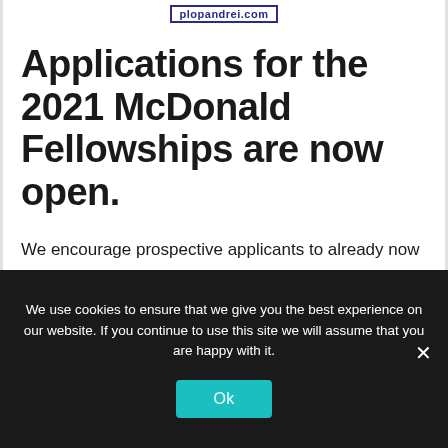plopandrei.com
Applications for the 2021 McDonald Fellowships are now open.
We encourage prospective applicants to already now consider their projects and suitable
We use cookies to ensure that we give you the best experience on our website. If you continue to use this site we will assume that you are happy with it.